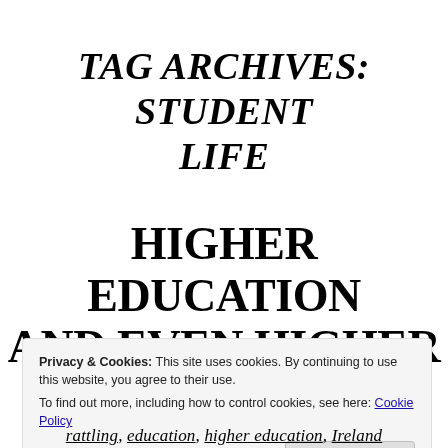TAG ARCHIVES: STUDENT LIFE
HIGHER EDUCATION AND EVEN HIGHER
Privacy & Cookies: This site uses cookies. By continuing to use this website, you agree to their use.
To find out more, including how to control cookies, see here: Cookie Policy
Close and accept
rattling, education, higher education, Ireland